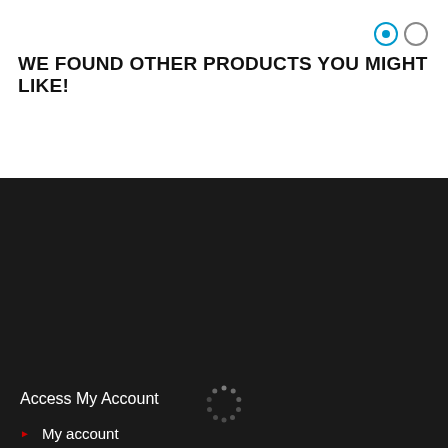[Figure (other): Two radio button / carousel indicator circles: one filled (blue center with blue border), one empty (grey border)]
WE FOUND OTHER PRODUCTS YOU MIGHT LIKE!
Access My Account
[Figure (other): Loading spinner — circular arrangement of small dots in grey on dark background]
My account
Orders history
Website Links
Loyalty Program
About us
Contact us